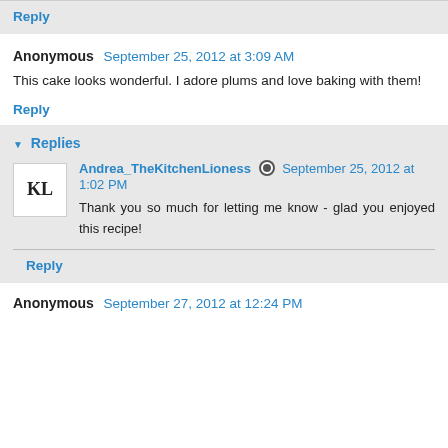Reply
Anonymous  September 25, 2012 at 3:09 AM
This cake looks wonderful. I adore plums and love baking with them!
Reply
▼ Replies
Andrea_TheKitchenLioness  September 25, 2012 at 1:02 PM
Thank you so much for letting me know - glad you enjoyed this recipe!
Reply
Anonymous  September 27, 2012 at 12:24 PM